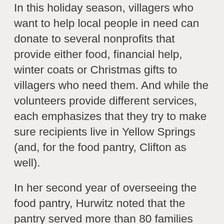In this holiday season, villagers who want to help local people in need can donate to several nonprofits that provide either food, financial help, winter coats or Christmas gifts to villagers who need them. And while the volunteers provide different services, each emphasizes that they try to make sure recipients live in Yellow Springs (and, for the food pantry, Clifton as well).
In her second year of overseeing the food pantry, Hurwitz noted that the pantry served more than 80 families this year. Located in the basement of the United Methodist Church, the pantry is open the second and fourth Thursday of each month from 2 to 4 p.m., except Thanksgiving. Any village resident is welcome. The pantry provides non-perishable items such as canned goods, pasta, rice and cereals, for free.
“We go through peanut butter, jelly and coffee rapidly,” she said. “I think those are staples in a lot of homes.”